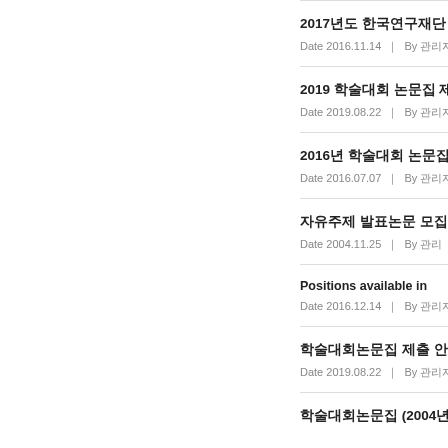2017년도 한국연구재단 인문사회분야 연구 지 | Date 2016.11.14 | By 관리자 | V
2019 학술대회 논문집 제출 안내 / 2019 | Date 2019.08.22 | By 관리자 | V
2016년 학술대회 논문집 제출 안내 / 201 | Date 2016.07.07 | By 관리자 | V
자유주제 발표논문 모집 안내 | Date 2004.11.25 | By 관리 | Vi
Positions available in | Date 2016.12.14 | By 관리자 | V
학술대회논문집 제출 안내 / Submiss | Date 2019.08.22 | By 관리자 | V
학술대회논문집 (2004년 8월 이전